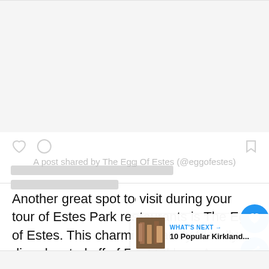[Figure (screenshot): Instagram-style social media post card with gray image placeholder area, heart and comment icons, bookmark icon, two gray placeholder text lines, and a shared-by caption]
A post shared by The Egg Of Estes (@eggofestes)
Another great spot to visit during your tour of Estes Park restaurants is The Egg of Estes. This charming, family friendly diner located off of East Elkhorn Avenue quickly became my favorite breakfast spot during my trip to Estes Park, CO.
[Figure (other): What's Next widget with thumbnail photo of Kirkland and text '10 Popular Kirkland...']